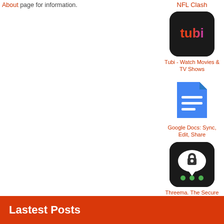About page for information.
NFL Clash
[Figure (logo): Tubi app icon — dark rounded square with 'tubi' text in gradient red-orange-pink-purple]
Tubi - Watch Movies & TV Shows
[Figure (logo): Google Docs app icon — blue document page with white horizontal lines]
Google Docs: Sync, Edit, Share
[Figure (logo): Threema app icon — dark rounded square with white speech bubble containing a padlock and three green dots]
Threema. The Secure Messenger
[Figure (logo): X badge — grey rounded square with letter X]
Lastest Posts